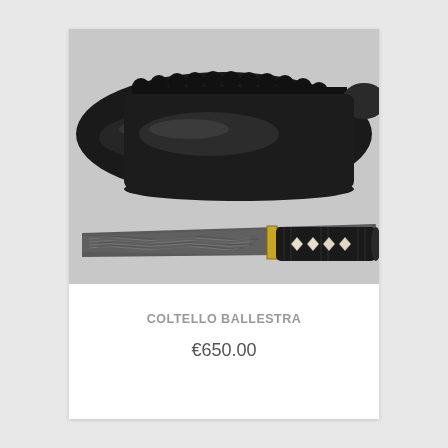[Figure (photo): Photo of a Japanese-style knife (tanto/ballestra) with a patterned Damascus-style blade and black wrapped tsuka (handle) with white diamond inlays, shown alongside its black leather sheath with decorative scalloped top edge.]
COLTELLO BALLESTRA
€650.00